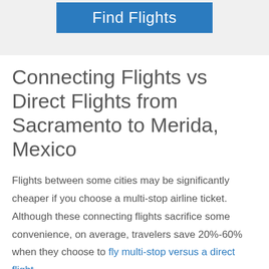[Figure (other): Blue 'Find Flights' button on a light grey banner background]
Connecting Flights vs Direct Flights from Sacramento to Merida, Mexico
Flights between some cities may be significantly cheaper if you choose a multi-stop airline ticket. Although these connecting flights sacrifice some convenience, on average, travelers save 20%-60% when they choose to fly multi-stop versus a direct flight.